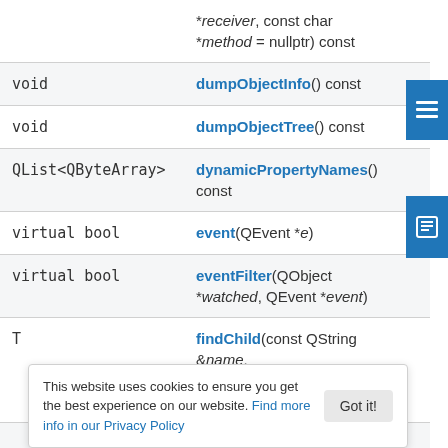| Return type | Method |
| --- | --- |
|  | *receiver, const char
*method = nullptr) const |
| void | dumpObjectInfo() const |
| void | dumpObjectTree() const |
| QList<QByteArray> | dynamicPropertyNames() const |
| virtual bool | event(QEvent *e) |
| virtual bool | eventFilter(QObject *watched, QEvent *event) |
| T | findChild(const QString &name, Qt::FindChildOptions options = Qt::FindChildrenRecursively) const |
| QList<T> | findChildren(const QString &name, |
This website uses cookies to ensure you get the best experience on our website. Find more info in our Privacy Policy